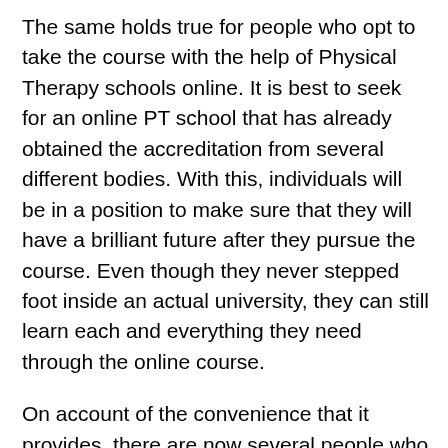The same holds true for people who opt to take the course with the help of Physical Therapy schools online. It is best to seek for an online PT school that has already obtained the accreditation from several different bodies. With this, individuals will be in a position to make sure that they will have a brilliant future after they pursue the course. Even though they never stepped foot inside an actual university, they can still learn each and everything they need through the online course.
On account of the convenience that it provides, there are now several people who prefer to take up the course with the help of Physical Therapy schools online. Even if it is a fairly new concept, there are many that have already recognized these as a great option for study. To this, numerous online schools have already acquired the accreditation they need to be recognized as a good school that provides the course. This is why there are several people who decide to pursue the course through the online option. In few cases, it is even the inexpensive alternative. With this alternative, people from everywhere have gained an opportunity to take up a course